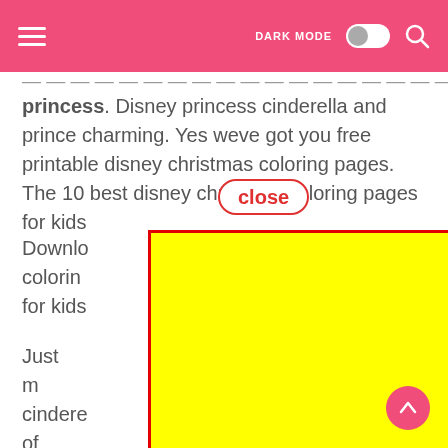DARK MODE [toggle] [search]
princess. Disney princess cinderella and prince charming. Yes weve got you free printable disney christmas coloring pages. The 10 best disney christmas coloring pages for kids
close
Download coloring pages for kids
[Figure (other): Yellow advertisement overlay box with red border covering part of the page content]
Just m ariel cindere de of childre re a fun wa cus motor s ages ages 9 n g adult c ng